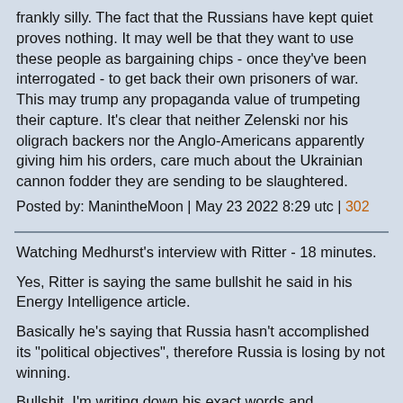frankly silly. The fact that the Russians have kept quiet proves nothing. It may well be that they want to use these people as bargaining chips - once they've been interrogated - to get back their own prisoners of war. This may trump any propaganda value of trumpeting their capture. It's clear that neither Zelenski nor his oligrach backers nor the Anglo-Americans apparently giving him his orders, care much about the Ukrainian cannon fodder they are sending to be slaughtered.
Posted by: ManintheMoon | May 23 2022 8:29 utc | 302
Watching Medhurst's interview with Ritter - 18 minutes.
Yes, Ritter is saying the same bullshit he said in his Energy Intelligence article.
Basically he's saying that Russia hasn't accomplished its "political objectives", therefore Russia is losing by not winning.
Bullshit. I'm writing down his exact words and paraphrases and I will try to cover them in Monday's thread. It appears to me that he's either been compromised or he just is incapable of comprehending what Martyanov and others have said about the way Russia does war.
Posted by: Richard Steven Hack | May 23 2022 8:38 utc |